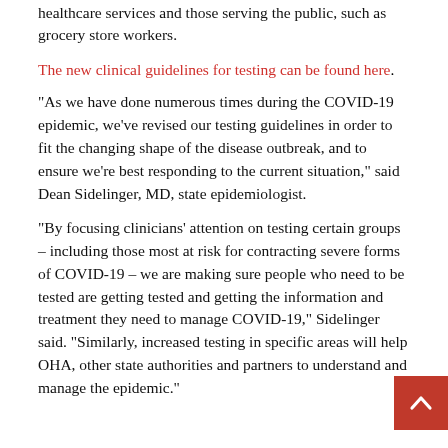essential frontline workers, including those providing healthcare services and those serving the public, such as grocery store workers.
The new clinical guidelines for testing can be found here.
“As we have done numerous times during the COVID-19 epidemic, we’ve revised our testing guidelines in order to fit the changing shape of the disease outbreak, and to ensure we’re best responding to the current situation,” said Dean Sidelinger, MD, state epidemiologist.
“By focusing clinicians’ attention on testing certain groups – including those most at risk for contracting severe forms of COVID-19 – we are making sure people who need to be tested are getting tested and getting the information and treatment they need to manage COVID-19,” Sidelinger said. “Similarly, increased testing in specific areas will help OHA, other state authorities and partners to understand and manage the epidemic.”